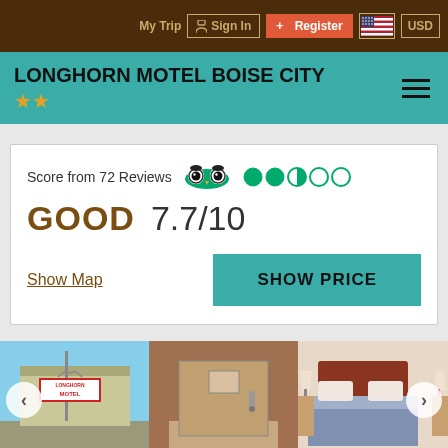My Trip  Sign In  Register  USD
LONGHORN MOTEL BOISE CITY ★★
Score from 72 Reviews  GOOD  7.7/10
Show Map
SHOW PRICE
[Figure (photo): Three hotel photos: exterior sign of Longhorn Motel, bathroom interior, and bedroom with beds]
< >